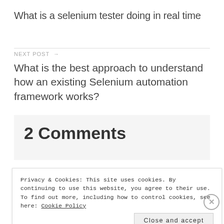What is a selenium tester doing in real time
NEXT POST →
What is the best approach to understand how an existing Selenium automation framework works?
2 Comments
Privacy & Cookies: This site uses cookies. By continuing to use this website, you agree to their use. To find out more, including how to control cookies, see here: Cookie Policy
Close and accept